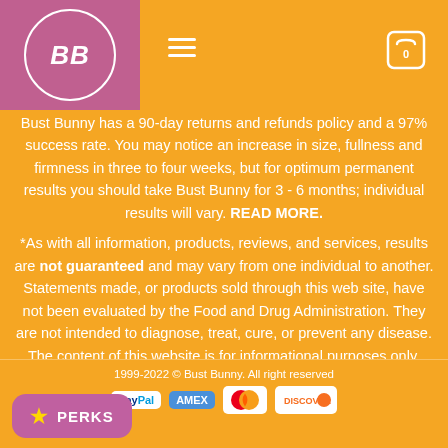BB logo, hamburger menu, cart icon
Bust Bunny has a 90-day returns and refunds policy and a 97% success rate. You may notice an increase in size, fullness and firmness in three to four weeks, but for optimum permanent results you should take Bust Bunny for 3 - 6 months; individual results will vary. READ MORE.
*As with all information, products, reviews, and services, results are not guaranteed and may vary from one individual to another. Statements made, or products sold through this web site, have not been evaluated by the Food and Drug Administration. They are not intended to diagnose, treat, cure, or prevent any disease. The content of this website is for informational purposes only.
1999-2022 © Bust Bunny. All right reserved. Payment icons: PayPal, AMEX, Mastercard, Discover. PERKS button.